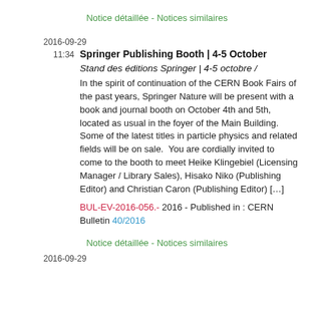Notice détaillée - Notices similaires
2016-09-29
11:34
Springer Publishing Booth | 4-5 October
Stand des éditions Springer | 4-5 octobre /
In the spirit of continuation of the CERN Book Fairs of the past years, Springer Nature will be present with a book and journal booth on October 4th and 5th, located as usual in the foyer of the Main Building. Some of the latest titles in particle physics and related fields will be on sale.  You are cordially invited to come to the booth to meet Heike Klingebiel (Licensing Manager / Library Sales), Hisako Niko (Publishing Editor) and Christian Caron (Publishing Editor) […]
BUL-EV-2016-056.- 2016 - Published in : CERN Bulletin 40/2016
Notice détaillée - Notices similaires
2016-09-29